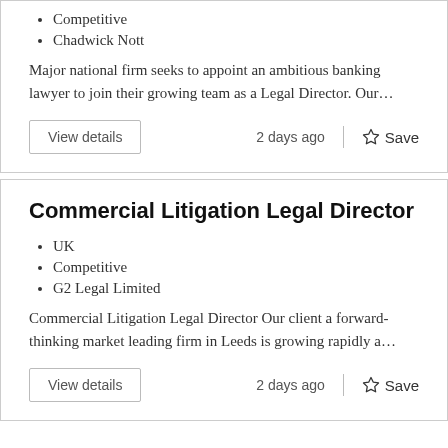Competitive
Chadwick Nott
Major national firm seeks to appoint an ambitious banking lawyer to join their growing team as a Legal Director. Our…
View details
2 days ago
Save
Commercial Litigation Legal Director
UK
Competitive
G2 Legal Limited
Commercial Litigation Legal Director Our client a forward-thinking market leading firm in Leeds is growing rapidly a…
View details
2 days ago
Save